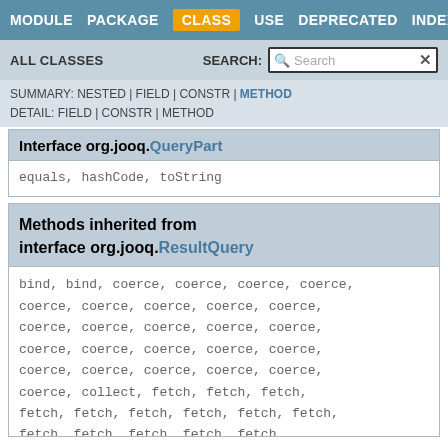MODULE  PACKAGE  CLASS  USE  DEPRECATED  INDEX  HELP
ALL CLASSES   SEARCH:
SUMMARY: NESTED | FIELD | CONSTR | METHOD
DETAIL: FIELD | CONSTR | METHOD
Interface org.jooq.QueryPart
equals, hashCode, toString
Methods inherited from interface org.jooq.ResultQuery
bind, bind, coerce, coerce, coerce, coerce, coerce, coerce, coerce, coerce, coerce, coerce, coerce, coerce, coerce, coerce, coerce, coerce, coerce, coerce, coerce, coerce, coerce, coerce, coerce, collect, fetch, fetch, fetch, fetch, fetch, fetch, fetch, fetch, fetch, fetch, fetch, fetch, fetchAny, fetchAny, fetchAny, fetchAny, fetchAny, fetchAny, fetchAny, fetchA...